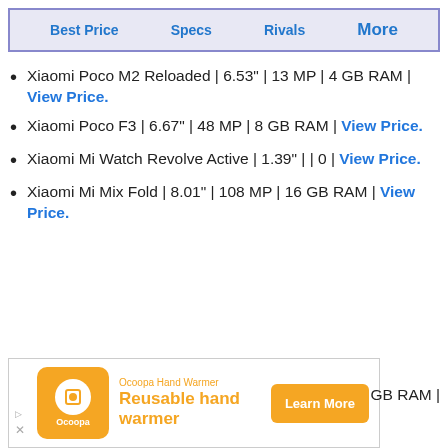Best Price | Specs | Rivals | More
Xiaomi Poco M2 Reloaded | 6.53" | 13 MP | 4 GB RAM | View Price.
Xiaomi Poco F3 | 6.67" | 48 MP | 8 GB RAM | View Price.
Xiaomi Mi Watch Revolve Active | 1.39" | | 0 | View Price.
Xiaomi Mi Mix Fold | 8.01" | 108 MP | 16 GB RAM | View Price.
[Figure (other): Advertisement banner for Ocoopa Hand Warmer - Reusable hand warmer with Learn More button]
GB RAM |